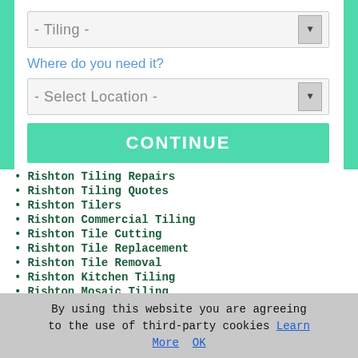[Figure (screenshot): Dropdown selector showing '- Tiling -' with a down arrow button]
Where do you need it?
[Figure (screenshot): Dropdown selector showing '- Select Location -' with a down arrow button]
[Figure (screenshot): Green CONTINUE button]
Rishton Tiling Repairs
Rishton Tiling Quotes
Rishton Tilers
Rishton Commercial Tiling
Rishton Tile Cutting
Rishton Tile Replacement
Rishton Tile Removal
Rishton Kitchen Tiling
Rishton Mosaic Tiling
Rishton Bathroom Tiling
Rishton Tile Re-Grouting
Rishton Tiling
By using this website you are agreeing to the use of third-party cookies Learn More  OK